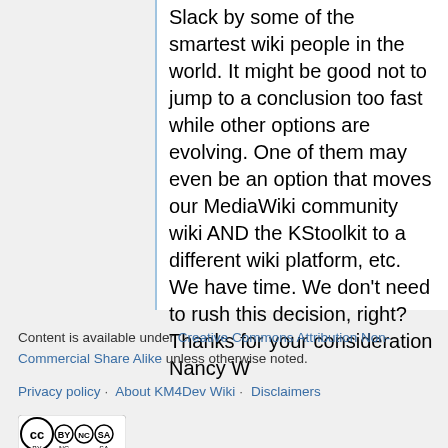Slack by some of the smartest wiki people in the world. It might be good not to jump to a conclusion too fast while other options are evolving. One of them may even be an option that moves our MediaWiki community wiki AND the KStoolkit to a different wiki platform, etc. We have time. We don't need to rush this decision, right? Thanks for your consideration Nancy W
Content is available under Creative Commons Attribution Non-Commercial Share Alike unless otherwise noted.
Privacy policy · About KM4Dev Wiki · Disclaimers